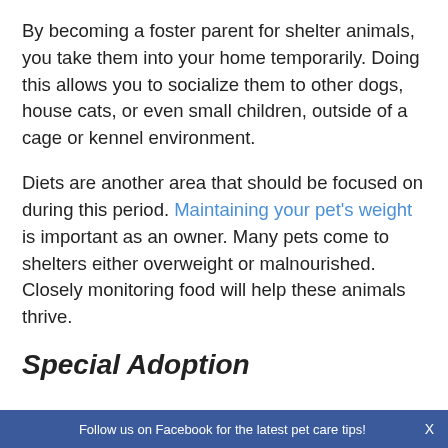By becoming a foster parent for shelter animals, you take them into your home temporarily. Doing this allows you to socialize them to other dogs, house cats, or even small children, outside of a cage or kennel environment.
Diets are another area that should be focused on during this period. Maintaining your pet's weight is important as an owner. Many pets come to shelters either overweight or malnourished.  Closely monitoring food will help these animals thrive.
Special Adoption
Follow us on Facebook for the latest pet care tips!